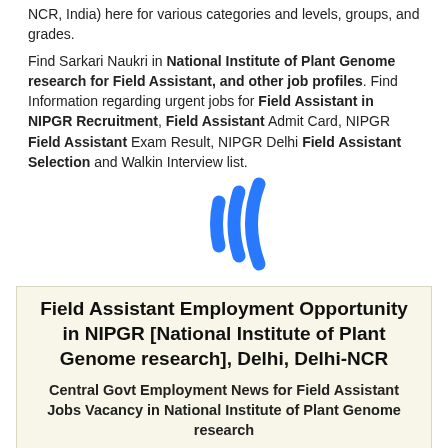NCR, India) here for various categories and levels, groups, and grades.
Find Sarkari Naukri in National Institute of Plant Genome research for Field Assistant, and other job profiles. Find Information regarding urgent jobs for Field Assistant in NIPGR Recruitment, Field Assistant Admit Card, NIPGR Field Assistant Exam Result, NIPGR Delhi Field Assistant Selection and Walkin Interview list.
[Figure (illustration): Blue audio/sound wave icon indicating text-to-speech or audio feature]
Field Assistant Employment Opportunity in NIPGR [National Institute of Plant Genome research], Delhi, Delhi-NCR
Central Govt Employment News for Field Assistant Jobs Vacancy in National Institute of Plant Genome research